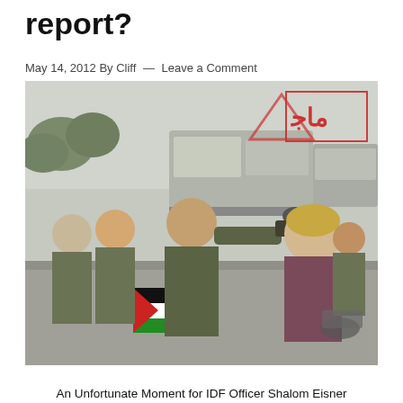report?
May 14, 2012 By Cliff — Leave a Comment
[Figure (photo): A photograph showing an IDF officer striking a protester with his hand/weapon. Several soldiers in military uniforms stand in the background near armored vehicles. A Palestinian flag is visible on the ground. A TV station watermark/logo is visible in the upper right corner.]
An Unfortunate Moment for IDF Officer Shalom Eisner